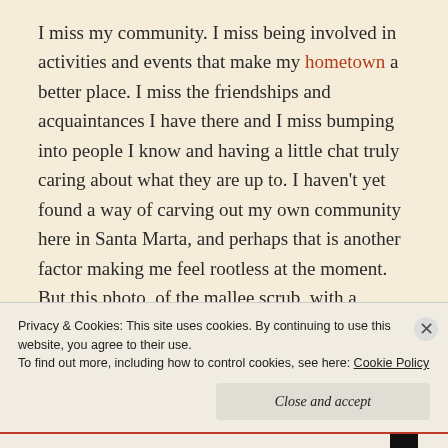I miss my community. I miss being involved in activities and events that make my hometown a better place. I miss the friendships and acquaintances I have there and I miss bumping into people I know and having a little chat truly caring about what they are up to. I haven't yet found a way of carving out my own community here in Santa Marta, and perhaps that is another factor making me feel rootless at the moment. But this photo, of the mallee scrub, with a gorgeous flowering gum
Privacy & Cookies: This site uses cookies. By continuing to use this website, you agree to their use.
To find out more, including how to control cookies, see here: Cookie Policy